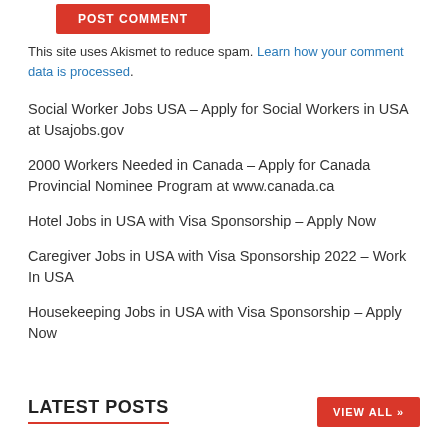[Figure (other): Red POST COMMENT button]
This site uses Akismet to reduce spam. Learn how your comment data is processed.
Social Worker Jobs USA – Apply for Social Workers in USA at Usajobs.gov
2000 Workers Needed in Canada – Apply for Canada Provincial Nominee Program at www.canada.ca
Hotel Jobs in USA with Visa Sponsorship – Apply Now
Caregiver Jobs in USA with Visa Sponsorship 2022 – Work In USA
Housekeeping Jobs in USA with Visa Sponsorship – Apply Now
LATEST POSTS
[Figure (other): VIEW ALL button]